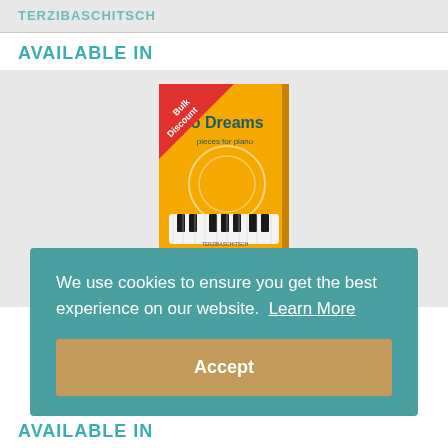TERZIBASCHITSCH
AVAILABLE IN
[Figure (photo): Book cover of Piano Dreams Duet Book 2 with orange/yellow background showing piano keys, with a red 'Bulk Discount' banner in the top-left corner.]
Piano Dreams Duet Book 2 (Trinity College London)
We use cookies to ensure you get the best experience on our website.  Learn More
Accept
AVAILABLE IN